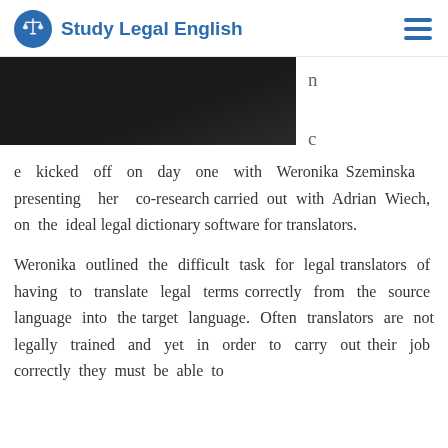Study Legal English
[Figure (photo): Dark image of a conference or lecture setting, partially visible]
e kicked off on day one with Weronika Szeminska presenting her co-research carried out with Adrian Wiech, on the ideal legal dictionary software for translators.
Weronika outlined the difficult task for legal translators of having to translate legal terms correctly from the source language into the target language. Often translators are not legally trained and yet in order to carry out their job correctly they must be able to